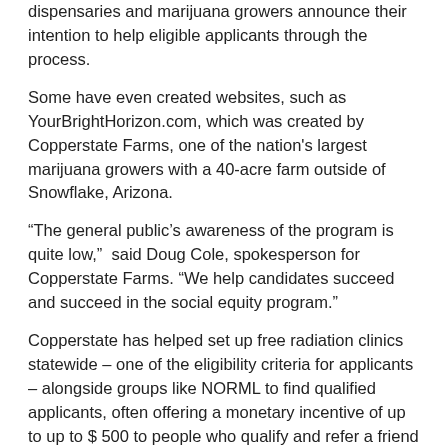dispensaries and marijuana growers announce their intention to help eligible applicants through the process.
Some have even created websites, such as YourBrightHorizon.com, which was created by Copperstate Farms, one of the nation's largest marijuana growers with a 40-acre farm outside of Snowflake, Arizona.
“The general public’s awareness of the program is quite low,” said Doug Cole, spokesperson for Copperstate Farms. “We help candidates succeed and succeed in the social equity program.”
Copperstate has helped set up free radiation clinics statewide – one of the eligibility criteria for applicants – alongside groups like NORML to find qualified applicants, often offering a monetary incentive of up to up to $ 500 to people who qualify and refer a friend who also qualifies.